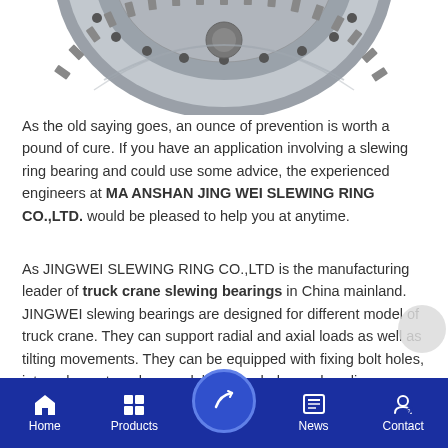[Figure (photo): Partial view of a large slewing ring gear (a large circular gear with teeth around the perimeter and bolt holes), shown from above, cropped at the top of the image.]
As the old saying goes, an ounce of prevention is worth a pound of cure. If you have an application involving a slewing ring bearing and could use some advice, the experienced engineers at MA ANSHAN JING WEI SLEWING RING CO.,LTD. would be pleased to help you at anytime.
As JINGWEI SLEWING RING CO.,LTD is the manufacturing leader of truck crane slewing bearings in China mainland. JINGWEI slewing bearings are designed for different model of truck crane. They can support radial and axial loads as well as tilting movements. They can be equipped with fixing bolt holes, internal or external gears, lubrication holes and sealing elements.This product is a support radial axial load...g movements slewing
Home  Products  [center button]  News  Contact